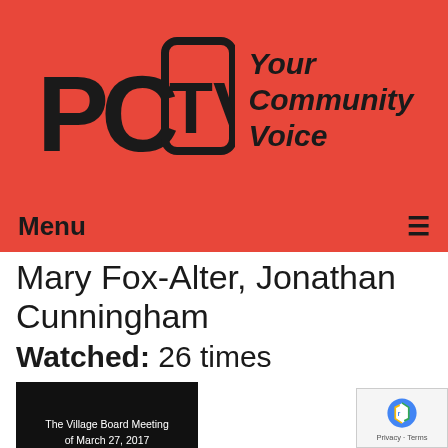[Figure (logo): PCTV logo with stylized block letters P, C, TV on a red background, with tagline 'Your Community Voice']
Menu ≡
Mary Fox-Alter, Jonathan Cunningham
Watched: 26 times
[Figure (screenshot): Video thumbnail showing 'The Village Board Meeting of March 27, 2017' text on a dark/black background]
The Village Board Meeting of 03-27-17